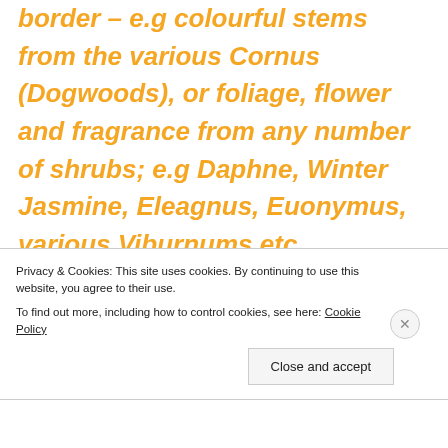border – e.g colourful stems from the various Cornus (Dogwoods), or foliage, flower and fragrance from any number of shrubs; e.g Daphne, Winter Jasmine, Eleagnus, Euonymus, various Viburnums etc.
Privacy & Cookies: This site uses cookies. By continuing to use this website, you agree to their use. To find out more, including how to control cookies, see here: Cookie Policy
Close and accept